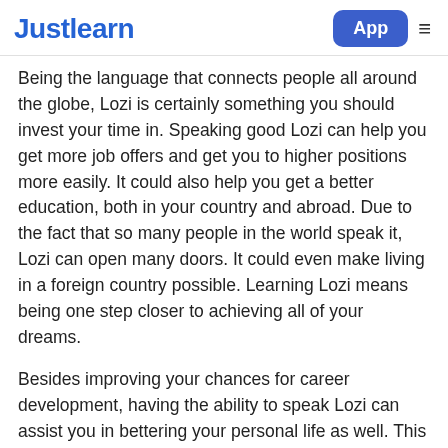Justlearn | App
Being the language that connects people all around the globe, Lozi is certainly something you should invest your time in. Speaking good Lozi can help you get more job offers and get you to higher positions more easily. It could also help you get a better education, both in your country and abroad. Due to the fact that so many people in the world speak it, Lozi can open many doors. It could even make living in a foreign country possible. Learning Lozi means being one step closer to achieving all of your dreams.
Besides improving your chances for career development, having the ability to speak Lozi can assist you in bettering your personal life as well. This amazing ability will make communication with people living in far away countries possible. You could meet foreigners...